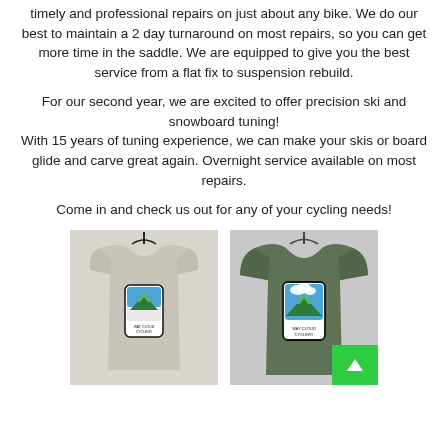timely and professional repairs on just about any bike. We do our best to maintain a 2 day turnaround on most repairs, so you can get more time in the saddle. We are equipped to give you the best service from a flat fix to suspension rebuild.
For our second year, we are excited to offer precision ski and snowboard tuning!
With 15 years of tuning experience, we can make your skis or board glide and carve great again. Overnight service available on most repairs.
Come in and check us out for any of your cycling needs!
[Figure (photo): Light gray women's t-shirt on a hanger with Way Cloud Cyclery logo on the chest]
[Figure (photo): Olive green men's t-shirt on a hanger with Way Cloud Cyclery logo on the chest]